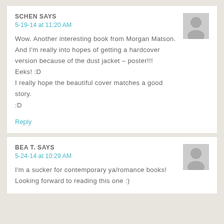SCHEN SAYS
5-19-14 at 11:20 AM
Wow. Another interesting book from Morgan Matson. And I'm really into hopes of getting a hardcover version because of the dust jacket – poster!!!
Eeks! :D
I really hope the beautiful cover matches a good story.
:D
Reply
BEA T. SAYS
5-24-14 at 10:29 AM
I'm a sucker for contemporary ya/romance books! Looking forward to reading this one :)